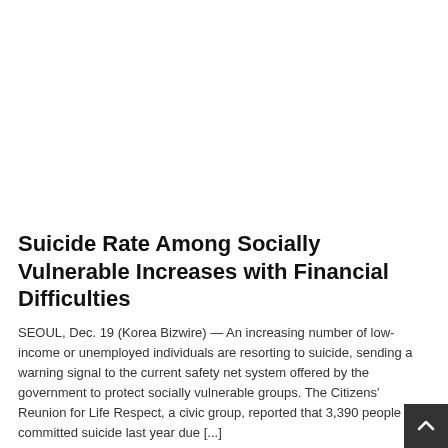[Figure (other): Blank white advertisement or image area at the top of the page]
Suicide Rate Among Socially Vulnerable Increases with Financial Difficulties
SEOUL, Dec. 19 (Korea Bizwire) — An increasing number of low-income or unemployed individuals are resorting to suicide, sending a warning signal to the current safety net system offered by the government to protect socially vulnerable groups. The Citizens' Reunion for Life Respect, a civic group, reported that 3,390 people committed suicide last year due [...]
December 19, 2019 | Health & Wellness, Most Viewed, Social Affairs, Top